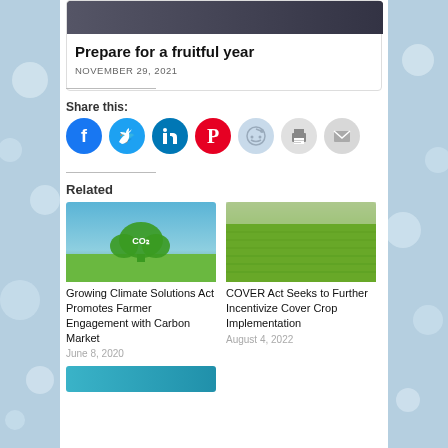[Figure (photo): Screenshot of article card with image of person, titled 'Prepare for a fruitful year', dated November 29, 2021]
Prepare for a fruitful year
NOVEMBER 29, 2021
Share this:
[Figure (infographic): Row of social share icon buttons: Facebook (blue), Twitter (light blue), LinkedIn (dark blue), Pinterest (red), Reddit (light blue/gray), Print (gray), Email (gray)]
Related
[Figure (photo): Image of CO2 tree/cloud on green field with blue sky]
Growing Climate Solutions Act Promotes Farmer Engagement with Carbon Market
June 8, 2020
[Figure (photo): Image of green crop field]
COVER Act Seeks to Further Incentivize Cover Crop Implementation
August 4, 2022
[Figure (photo): Partial thumbnail of another related article, teal/blue color]